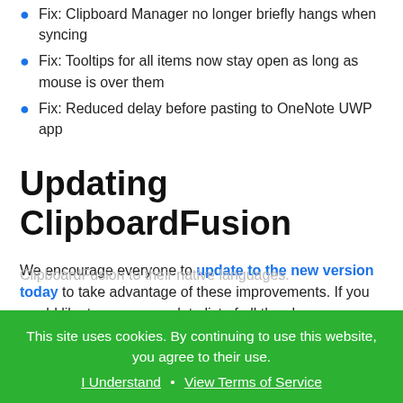Fix: Clipboard Manager no longer briefly hangs when syncing
Fix: Tooltips for all items now stay open as long as mouse is over them
Fix: Reduced delay before pasting to OneNote UWP app
Updating ClipboardFusion
We encourage everyone to update to the new version today to take advantage of these improvements. If you would like to see a complete list of all the changes, please view the
This site uses cookies. By continuing to use this website, you agree to their use. I Understand · View Terms of Service
ClipboardFusion to their native languages.